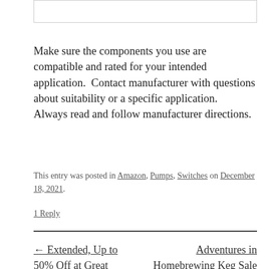Make sure the components you use are compatible and rated for your intended application.  Contact manufacturer with questions about suitability or a specific application.  Always read and follow manufacturer directions.
This entry was posted in Amazon, Pumps, Switches on December 18, 2021.
1 Reply
← Extended, Up to 50% Off at Great Fermentations
Adventures in Homebrewing Keg Sale + Stacking 12% Off